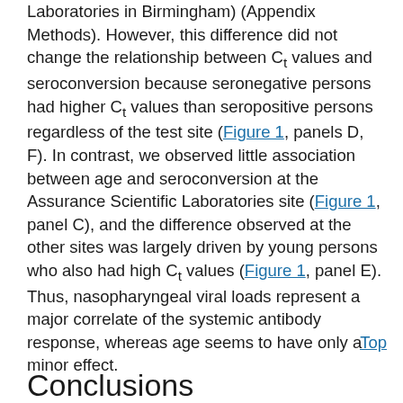Laboratories in Birmingham) (Appendix Methods). However, this difference did not change the relationship between Ct values and seroconversion because seronegative persons had higher Ct values than seropositive persons regardless of the test site (Figure 1, panels D, F). In contrast, we observed little association between age and seroconversion at the Assurance Scientific Laboratories site (Figure 1, panel C), and the difference observed at the other sites was largely driven by young persons who also had high Ct values (Figure 1, panel E). Thus, nasopharyngeal viral loads represent a major correlate of the systemic antibody response, whereas age seems to have only a minor effect.
Top
Conclusions